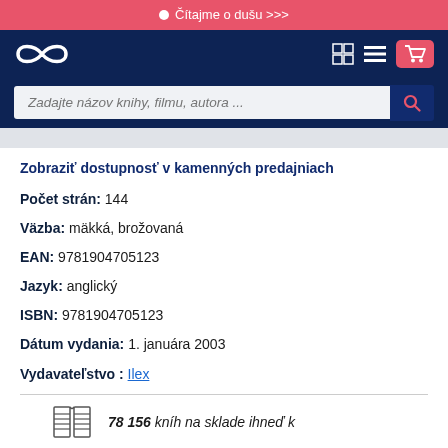● Čítajme o dušu >>>
[Figure (screenshot): Navigation bar with infinity logo and icons for grid, menu, and shopping cart on dark blue background]
[Figure (screenshot): Search bar with placeholder text 'Zadajte názov knihy, filmu, autora ...' and search icon button]
Zobraziť dostupnosť v kamenných predajniach
Počet strán: 144
Väzba: mäkká, brožovaná
EAN: 9781904705123
Jazyk: anglický
ISBN: 9781904705123
Dátum vydania: 1. januára 2003
Vydavateľstvo : Ilex
78 156 kníh na sklade ihneď k